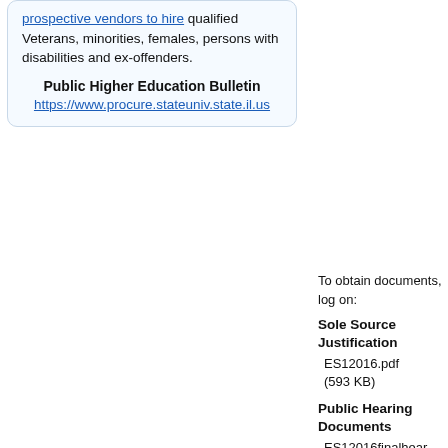prospective vendors to hire qualified Veterans, minorities, females, persons with disabilities and ex-offenders.
Public Higher Education Bulletin
https://www.procure.stateuniv.state.il.us
To obtain documents, log on:
Sole Source Justification
ES12016.pdf (593 KB)
Public Hearing Documents
ES12016finalhear... (385 KB)